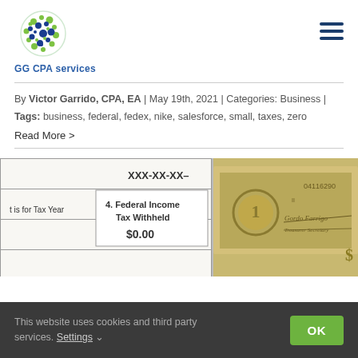[Figure (logo): GG CPA Services logo with globe icon made of green and blue dots, text 'GG CPA services' below in blue]
By Victor Garrido, CPA, EA | May 19th, 2021 | Categories: Business | Tags: business, federal, fedex, nike, salesforce, small, taxes, zero
Read More >
[Figure (photo): Photo of a tax form showing 'Federal Income Tax Withheld $0.00' and 'is for Tax Year' fields with XXX-XX-XX redacted SSN, alongside a stack of US dollar bills with a check visible]
This website uses cookies and third party services. Settings